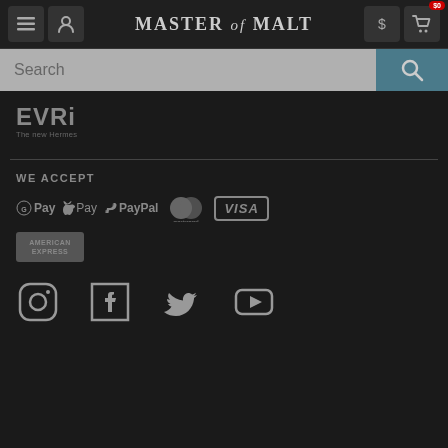Master of Malt — navigation header with menu, account, currency ($0), and cart icons
[Figure (screenshot): Search bar with grey input field and teal search button with magnifying glass icon]
[Figure (logo): EVRi - The new Hermes delivery logo in grey]
WE ACCEPT
[Figure (logo): Payment method logos: G Pay, Apple Pay, PayPal, Mastercard, Visa, American Express]
[Figure (logo): Social media icons: Instagram, Facebook, Twitter, YouTube]